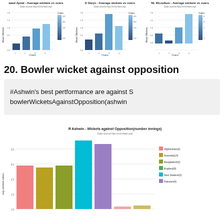[Figure (bar-chart): Bar chart showing mean wickets vs overs for Saeed Ajmal with color gradient legend for overs]
[Figure (bar-chart): Bar chart showing mean wickets vs overs for D Steyn with color gradient legend for overs]
[Figure (bar-chart): Bar chart showing mean wickets vs overs for NL McCallum with color gradient legend for overs]
20. Bowler wicket against opposition
#Ashwin's best pertformance are against S
bowlerWicketsAgainstOpposition(ashwin
[Figure (bar-chart): Bar chart showing wickets taken per opposition for R Ashwin. Opposition: Afghanistan(2), Australia(14), Bangladesh(2), England(8), New Zealand(2), Pakistan(6). Y-axis: avg wickets taken. Bars colored by opposition.]